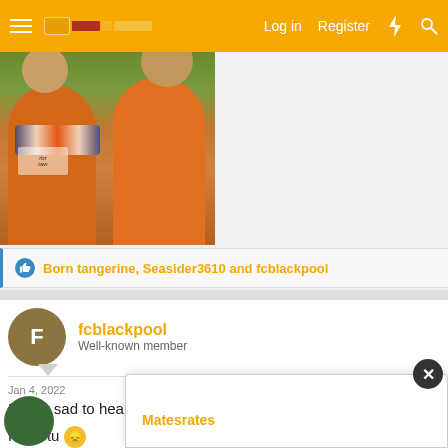Log in  Register
[Figure (photo): Two men wearing orange Dutch football shirts and scarves smiling at the camera in a crowd]
Born tangerine, Seasider3610 and fcblackpool
fcblackpool
Well-known member
Jan 4, 2022  #3
Really sad to hear this.
RIP Stu 😞
Matesrates